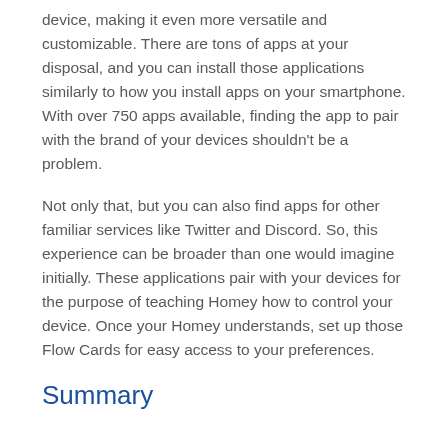device, making it even more versatile and customizable. There are tons of apps at your disposal, and you can install those applications similarly to how you install apps on your smartphone. With over 750 apps available, finding the app to pair with the brand of your devices shouldn't be a problem.
Not only that, but you can also find apps for other familiar services like Twitter and Discord. So, this experience can be broader than one would imagine initially. These applications pair with your devices for the purpose of teaching Homey how to control your device. Once your Homey understands, set up those Flow Cards for easy access to your preferences.
Summary